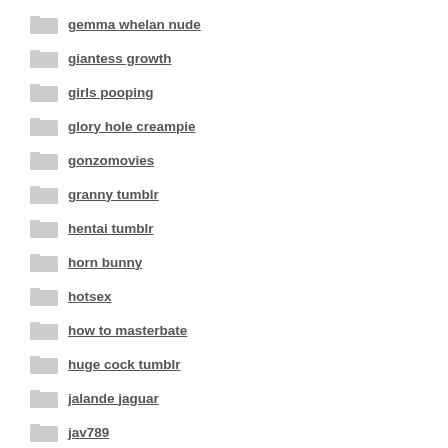gemma whelan nude
giantess growth
girls pooping
glory hole creampie
gonzomovies
granny tumblr
hentai tumblr
horn bunny
hotsex
how to masterbate
huge cock tumblr
jalande jaguar
jav789
jesus juanah